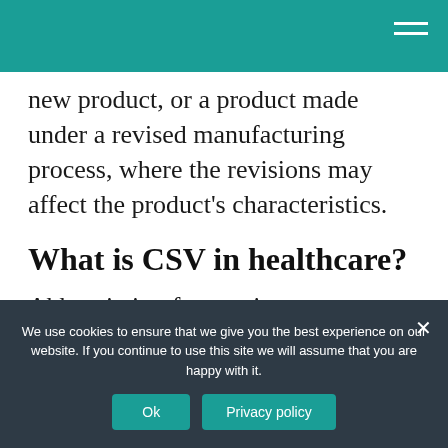new product, or a product made under a revised manufacturing process, where the revisions may affect the product's characteristics.
What is CSV in healthcare?
Abbreviation for continuous spontaneous ventilation.
What are the five steps in
We use cookies to ensure that we give you the best experience on our website. If you continue to use this site we will assume that you are happy with it.